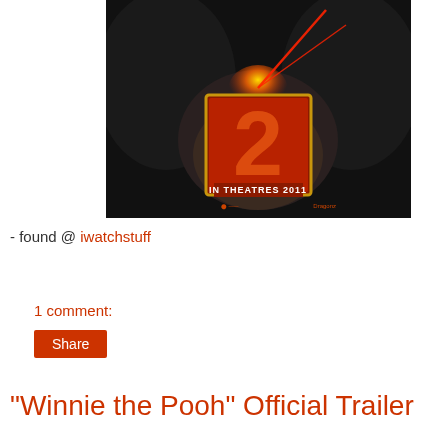[Figure (photo): Movie poster for a sequel film showing 'IN THEATRES 2011' text with a large orange/red '2' logo and laser beams against a dark background with a figure]
- found @ iwatchstuff
1 comment:
Share
"Winnie the Pooh" Official Trailer